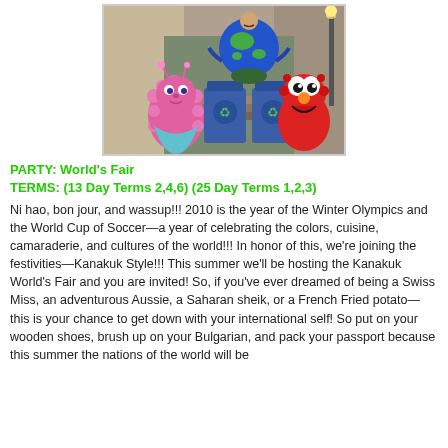[Figure (photo): Photo of Sesame Street characters Abby Cadabby (pink fuzzy monster) and Elmo (red monster) alongside a person dressed in a blue Earth globe costume, posing in front of blue recycling bins with green recycling symbols.]
PARTY: World's Fair
TERMS: (13 Day Terms 2,4,6) (25 Day Terms 1,2,3)
Ni hao, bon jour, and wassup!!! 2010 is the year of the Winter Olympics and the World Cup of Soccer—a year of celebrating the colors, cuisine, camaraderie, and cultures of the world!!! In honor of this, we're joining the festivities—Kanakuk Style!!! This summer we'll be hosting the Kanakuk World's Fair and you are invited! So, if you've ever dreamed of being a Swiss Miss, an adventurous Aussie, a Saharan sheik, or a French Fried potato—this is your chance to get down with your international self! So put on your wooden shoes, brush up on your Bulgarian, and pack your passport because this summer the nations of the world will be